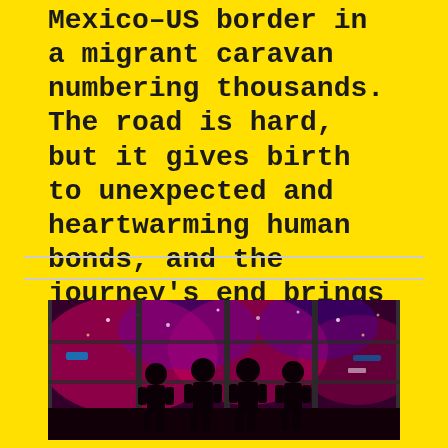Mexico–US border in a migrant caravan numbering thousands. The road is hard, but it gives birth to unexpected and heartwarming human bonds, and the journey's end brings with it a new outlook on life.
[Figure (photo): Four silhouetted figures standing in front of large windows showing a vibrant pink and purple night sky with colorful lights and fireworks.]